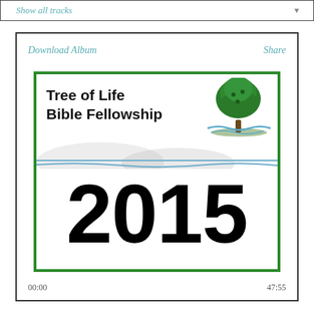Show all tracks
Download Album
Share
[Figure (logo): Tree of Life Bible Fellowship album cover with church logo (green tree) and the year 2015 in large bold text]
00:00
47:55